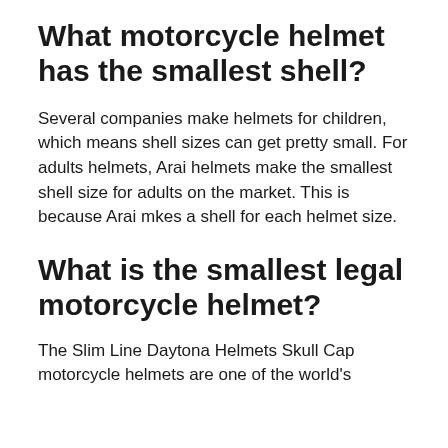What motorcycle helmet has the smallest shell?
Several companies make helmets for children, which means shell sizes can get pretty small. For adults helmets, Arai helmets make the smallest shell size for adults on the market. This is because Arai mkes a shell for each helmet size.
What is the smallest legal motorcycle helmet?
The Slim Line Daytona Helmets Skull Cap motorcycle helmets are one of the world's smallest helmets...